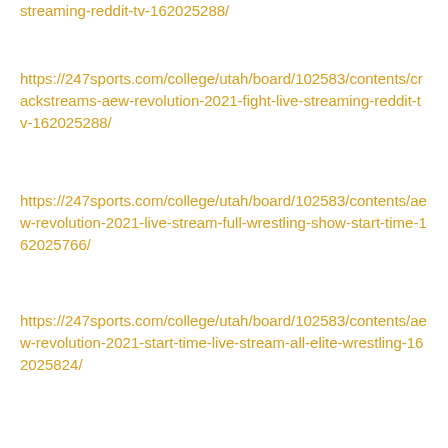streaming-reddit-tv-162025288/
https://247sports.com/college/utah/board/102583/contents/crackstreams-aew-revolution-2021-fight-live-streaming-reddit-tv-162025288/
https://247sports.com/college/utah/board/102583/contents/aew-revolution-2021-live-stream-full-wrestling-show-start-time-162025766/
https://247sports.com/college/utah/board/102583/contents/aew-revolution-2021-start-time-live-stream-all-elite-wrestling-162025824/